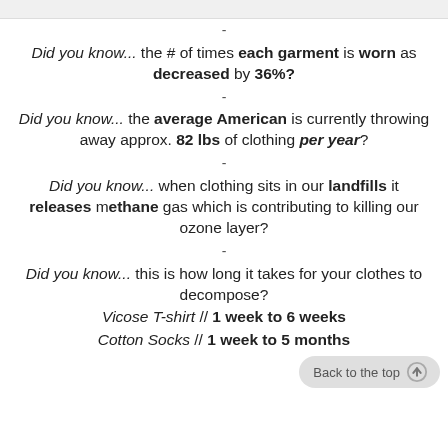Did you know... the # of times each garment is worn as decreased by 36%?
Did you know... the average American is currently throwing away approx. 82 lbs of clothing per year?
Did you know... when clothing sits in our landfills it releases methane gas which is contributing to killing our ozone layer?
Did you know... this is how long it takes for your clothes to decompose?
Vicose T-shirt // 1 week to 6 weeks
Cotton Socks // 1 week to 5 months